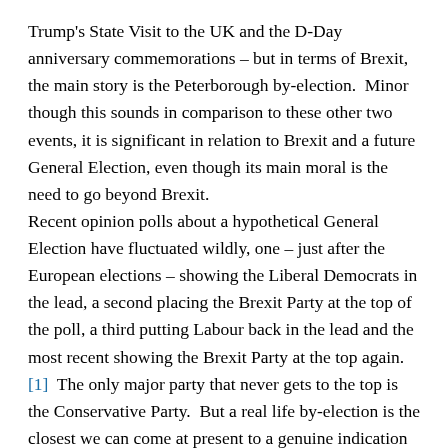Trump's State Visit to the UK and the D-Day anniversary commemorations – but in terms of Brexit, the main story is the Peterborough by-election. Minor though this sounds in comparison to these other two events, it is significant in relation to Brexit and a future General Election, even though its main moral is the need to go beyond Brexit.
Recent opinion polls about a hypothetical General Election have fluctuated wildly, one – just after the European elections – showing the Liberal Democrats in the lead, a second placing the Brexit Party at the top of the poll, a third putting Labour back in the lead and the most recent showing the Brexit Party at the top again.[1] The only major party that never gets to the top is the Conservative Party. But a real life by-election is the closest we can come at present to a genuine indication of how things are playing out in terms of the British electorate.
Peterborough, an ancient cathedral city in the English Midlands, voted strongly for Leave in the 2016 referendum. Up to now, Peterborough has been a Conservative/Labour marginal